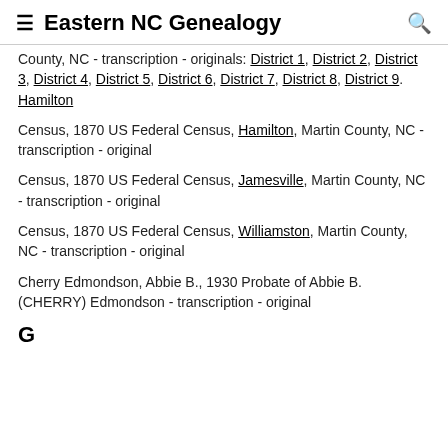Eastern NC Genealogy
County, NC - transcription - originals: District 1, District 2, District 3, District 4, District 5, District 6, District 7, District 8, District 9. Hamilton
Census, 1870 US Federal Census, Hamilton, Martin County, NC - transcription - original
Census, 1870 US Federal Census, Jamesville, Martin County, NC - transcription - original
Census, 1870 US Federal Census, Williamston, Martin County, NC - transcription - original
Cherry Edmondson, Abbie B., 1930 Probate of Abbie B. (CHERRY) Edmondson - transcription - original
G